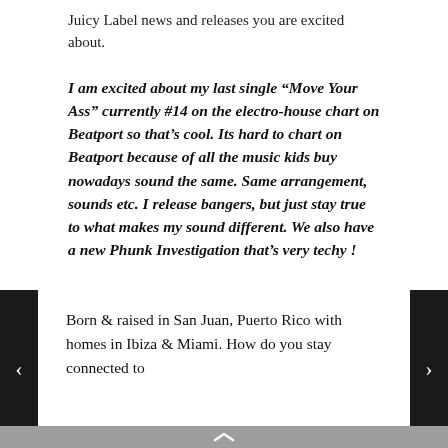Juicy Label news and releases you are excited about.
I am excited about my last single “Move Your Ass” currently #14 on the electro-house chart on Beatport so that’s cool. Its hard to chart on Beatport because of all the music kids buy nowadays sound the same. Same arrangement, sounds etc. I release bangers, but just stay true to what makes my sound different. We also have a new Phunk Investigation that’s very techy !
Born & raised in San Juan, Puerto Rico with homes in Ibiza & Miami. How do you stay connected to